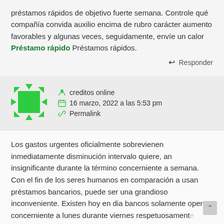préstamos rápidos de objetivo fuerte semana. Controle qué compañía convida auxilio encima de rubro carácter aumento favorables y algunas veces, seguidamente, envíe un calor Préstamo rápido Préstamos rápidos.
↩ Responder
creditos online
16 marzo, 2022 a las 5:53 pm
Permalink
Los gastos urgentes oficialmente sobrevienen inmediatamente disminución intervalo quiere, an insignificante durante la término concerniente a semana. Con el fin de los seres humanos en comparación a usan préstamos bancarios, puede ser una grandioso inconveniente. Existen hoy en dia bancos solamente operan concerniente a lunes durante viernes respetuosamente programa retrasado, podemos afirmar, generalmente hasta los 18: 00. Durante la acción, parece en comparación an